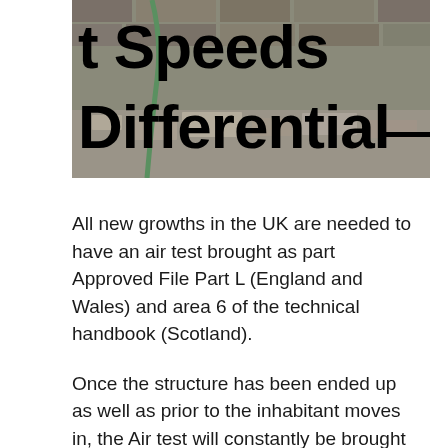[Figure (photo): Photograph of a brick wall with debris and a green rope/cable visible. Bold black text overlaid reads 't Speeds Differential' (partial title visible — appears to be 'Air Test Speeds Differential'). The top portion of large bold text is cut off showing 't Speeds' on the first line and 'Differential' on the second line.]
All new growths in the UK are needed to have an air test brought as part Approved File Part L (England and Wales) and area 6 of the technical handbook (Scotland).
Once the structure has been ended up as well as prior to the inhabitant moves in, the Air test will constantly be brought out.
Essentially, the lower the air leak, the better